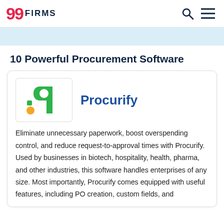99FIRMS
10 Powerful Procurement Software
[Figure (logo): Procurify logo — green letter P with yellow and green accent dots]
Procurify
Eliminate unnecessary paperwork, boost overspending control, and reduce request-to-approval times with Procurify. Used by businesses in biotech, hospitality, health, pharma, and other industries, this software handles enterprises of any size. Most importantly, Procurify comes equipped with useful features, including PO creation, custom fields, and